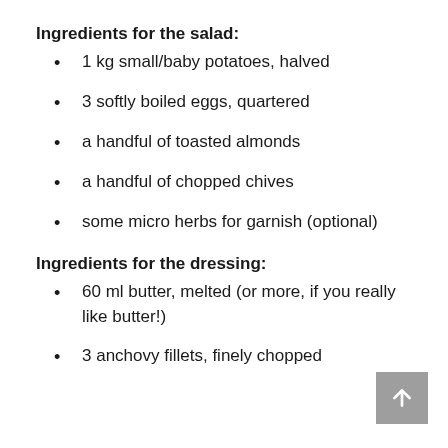Ingredients for the salad:
1 kg small/baby potatoes, halved
3 softly boiled eggs, quartered
a handful of toasted almonds
a handful of chopped chives
some micro herbs for garnish (optional)
Ingredients for the dressing:
60 ml butter, melted (or more, if you really like butter!)
3 anchovy fillets, finely chopped